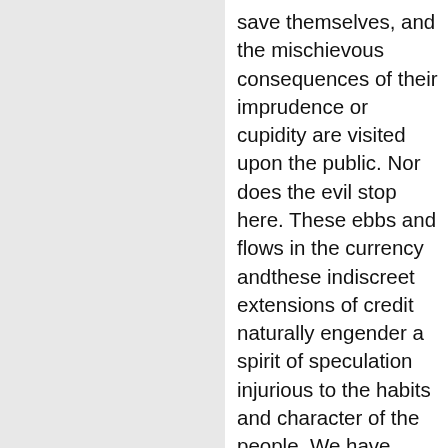save themselves, and the mischievous consequences of their imprudence or cupidity are visited upon the public. Nor does the evil stop here. These ebbs and flows in the currency andthese indiscreet extensions of credit naturally engender a spirit of speculation injurious to the habits and character of the people. We have already seen its effects in the wild spirit of speculation in the public lands and various kinds of stock which within the last year or two seized upon such a multitude of our citizens and threatened to pervade all classes of society and to withdraw their attention from the sober pursuits of honest industry. It is not by encouraging this spirit that we shall best preserve public virtue and promote the true interests of our